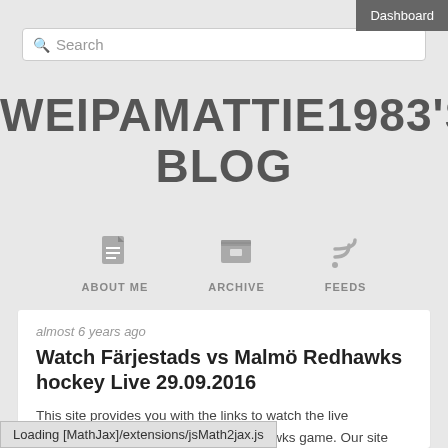Dashboard
Search
WEIPAMATTIE1983'S BLOG
[Figure (infographic): Navigation icons for About Me, Archive, and Feeds with small grey icons above each label]
almost 6 years ago
Watch Färjestads vs Malmö Redhawks hockey Live 29.09.2016
This site provides you with the links to watch the live webcast of Färjestads vs Malmö Redhawks game. Our site
Loading [MathJax]/extensions/jsMath2jax.js